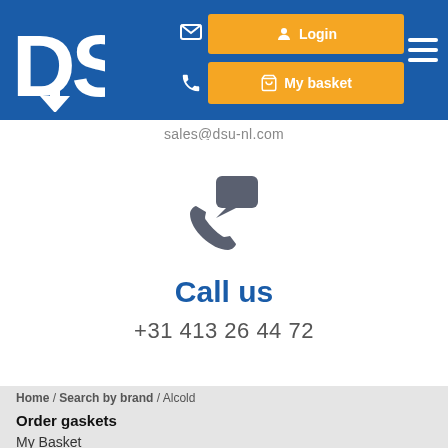[Figure (logo): DSU logo in white on blue background]
sales@dsu-nl.com
[Figure (illustration): Phone with chat bubble icon in dark gray]
Call us
+31 413 26 44 72
Home / Search by brand / Alcold
Order gaskets
My Basket
Saved Baskets
Order history
Made-to-Measure
Custom Gasket Configurator